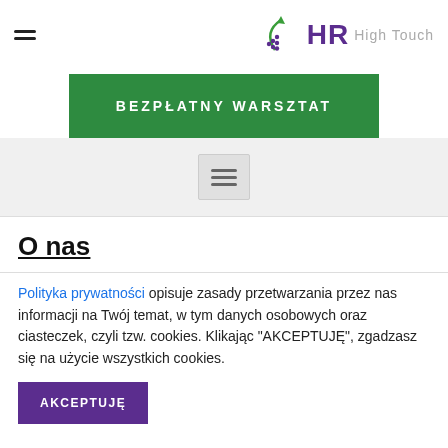HR High Touch
[Figure (logo): HR High Touch logo with green arrow and purple HR text]
BEZPŁATNY WARSZTAT
[Figure (other): Hamburger menu icon inside gray box]
O nas
Polityka prywatności opisuje zasady przetwarzania przez nas informacji na Twój temat, w tym danych osobowych oraz ciasteczek, czyli tzw. cookies. Klikając "AKCEPTUJĘ", zgadzasz się na użycie wszystkich cookies.
AKCEPTUJĘ